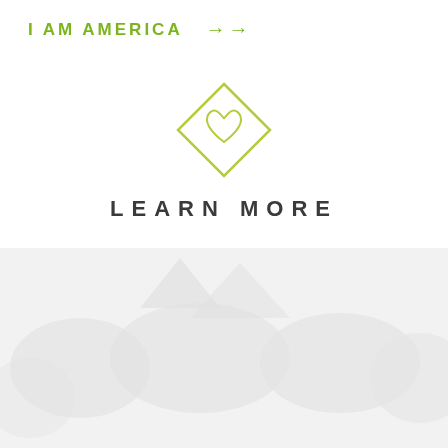I AM AMERICA →
[Figure (illustration): Diamond/rhombus shaped outline icon with a heart symbol inside, rendered in olive/yellow-green color]
LEARN MORE
[Figure (photo): Faded/washed-out crowd photo in light gray tones, showing people gathered outdoors]